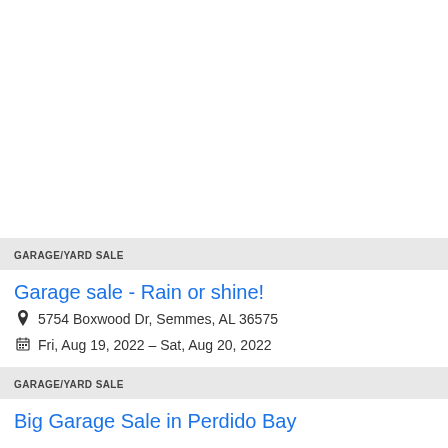GARAGE/YARD SALE
Garage sale - Rain or shine!
5754 Boxwood Dr, Semmes, AL 36575
Fri, Aug 19, 2022 – Sat, Aug 20, 2022
GARAGE/YARD SALE
Big Garage Sale in Perdido Bay